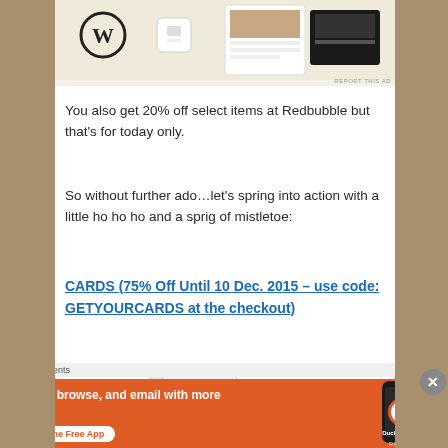[Figure (screenshot): Top portion of a blog/website page showing product images with WordPress logo and menu/food images, with 'REPORT THIS AD' text]
You also get 20% off select items at Redbubble but that's for today only.
So without further ado…let's spring into action with a little ho ho ho and a sprig of mistletoe:
CARDS (75% Off Until 10 Dec. 2015 – use code: GETYOURCARDS at the checkout)
[Figure (screenshot): Card product preview image showing white greeting cards]
Advertisements
[Figure (screenshot): DuckDuckGo advertisement banner: Search, browse, and email with more privacy. All in One Free App. Shows DuckDuckGo logo on phone.]